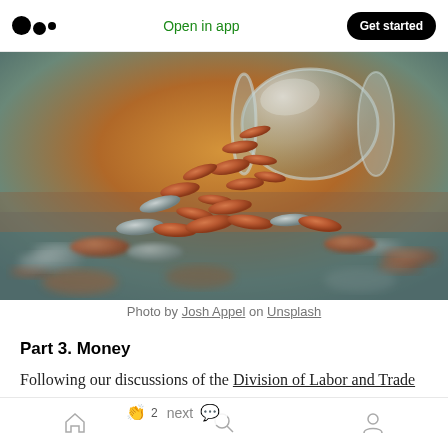Medium logo | Open in app | Get started
[Figure (photo): Close-up photograph of many coins spilling out of a glass jar onto a surface, with warm copper and silver tones. Photo by Josh Appel on Unsplash.]
Photo by Josh Appel on Unsplash
Part 3. Money
Following our discussions of the Division of Labor and Trade (Part 2), the building block we will introduce is Money. So what happens when
Home | Search | Profile (bottom navigation)